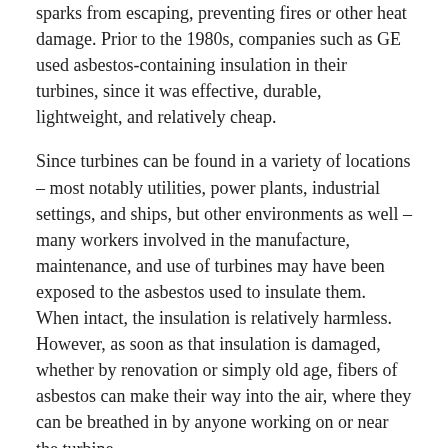sparks from escaping, preventing fires or other heat damage. Prior to the 1980s, companies such as GE used asbestos-containing insulation in their turbines, since it was effective, durable, lightweight, and relatively cheap.
Since turbines can be found in a variety of locations – most notably utilities, power plants, industrial settings, and ships, but other environments as well – many workers involved in the manufacture, maintenance, and use of turbines may have been exposed to the asbestos used to insulate them. When intact, the insulation is relatively harmless. However, as soon as that insulation is damaged, whether by renovation or simply old age, fibers of asbestos can make their way into the air, where they can be breathed in by anyone working on or near the turbine.
Many of the companies that manufactured turbines failed to warn the hazardous impact of asbestos on health of people working for the United States Navy and those in the mine industry, but defended themselves stating that the turbines were built in accordance with the specification provided by the consumers. As a result, the rates of mesothelioma among Navy workers, repairmen and contractors are significantly greater than the incidence of mesothelioma in the public.